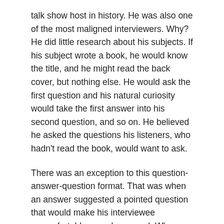talk show host in history.  He was also one of the most maligned interviewers. Why?  He did little research about his subjects.  If his subject wrote a book, he would know the title, and he might read the back cover, but nothing else.  He would ask the first question and his natural curiosity would take the first answer into his second question, and so on. He believed he asked the questions his listeners, who hadn't read the book, would want to ask.
There was an exception to this question-answer-question format.  That was when an answer suggested a pointed question that would make his interviewee uncomfortable or embarrassed.  When that time came, Larry would change tack toward safer waters. Larry never asked the tough follow up questions.  Instead, the interviewee was led back into their comfort zone.
This drove Larry's critics crazy.  Interviewees were happy